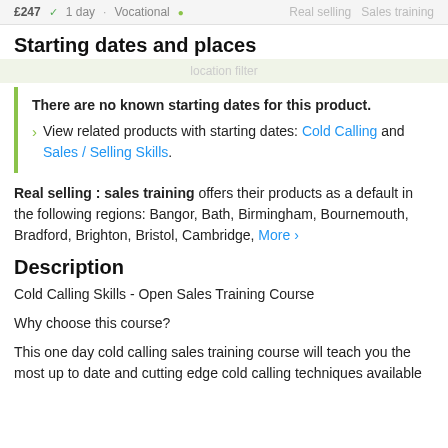£247 ✓  1 day  Vocational  •  Real selling  Sales training
Starting dates and places
location filter
There are no known starting dates for this product.
> View related products with starting dates: Cold Calling and Sales / Selling Skills.
Real selling : sales training offers their products as a default in the following regions: Bangor, Bath, Birmingham, Bournemouth, Bradford, Brighton, Bristol, Cambridge, More >
Description
Cold Calling Skills - Open Sales Training Course
Why choose this course?
This one day cold calling sales training course will teach you the most up to date and cutting edge cold calling techniques available